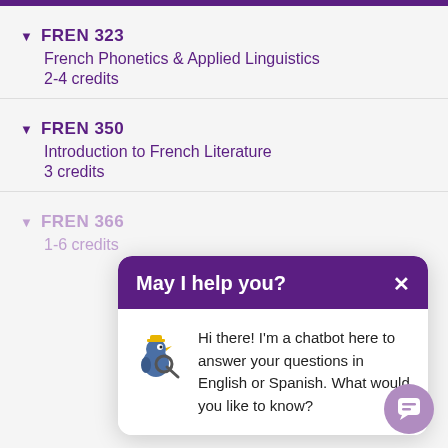FREN 323
French Phonetics & Applied Linguistics
2-4 credits
FREN 350
Introduction to French Literature
3 credits
FREN 366 (partially visible)
[Figure (screenshot): Chatbot popup with purple header reading 'May I help you?' and a close X button, showing a bird chatbot icon and the message: 'Hi there! I'm a chatbot here to answer your questions in English or Spanish. What would you like to know?']
[Figure (illustration): Purple circular chat launcher button in bottom right corner with a chat bubble icon]